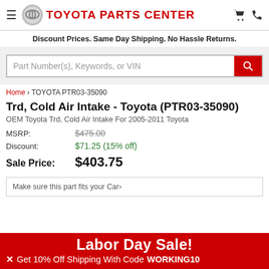TOYOTA PARTS CENTER
Discount Prices. Same Day Shipping. No Hassle Returns.
Part Number(s), Keywords, or VIN
Home › TOYOTA PTR03-35090
Trd, Cold Air Intake - Toyota (PTR03-35090)
OEM Toyota Trd, Cold Air Intake For 2005-2011 Toyota
| MSRP: | $475.00 |
| Discount: | $71.25 (15% off) |
| Sale Price: | $403.75 |
Make sure this part fits your Car›
Labor Day Sale!
Get 10% Off Shipping With Code WORKING10